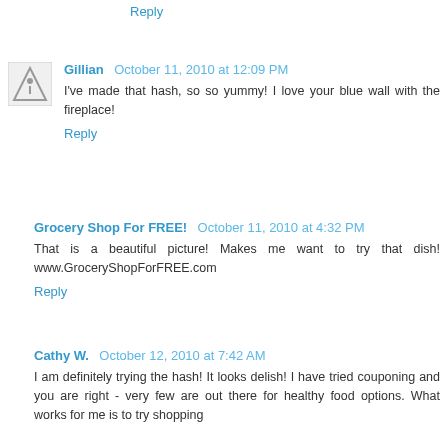Reply
Gillian  October 11, 2010 at 12:09 PM
I've made that hash, so so yummy! I love your blue wall with the fireplace!
Reply
Grocery Shop For FREE!  October 11, 2010 at 4:32 PM
That is a beautiful picture! Makes me want to try that dish! www.GroceryShopForFREE.com
Reply
Cathy W.  October 12, 2010 at 7:42 AM
I am definitely trying the hash! It looks delish! I have tried couponing and you are right - very few are out there for healthy food options. What works for me is to try shopping